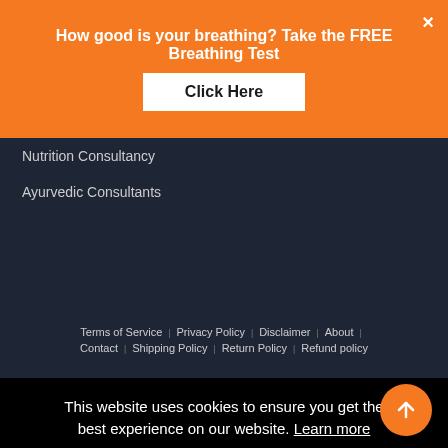How good is your breathing? Take the FREE Breathing Test
Click Here
Nutrition Consultancy
Ayurvedic Consultants
Terms of Service | Privacy Policy | Disclaimer | About | Contact | Shipping Policy | Return Policy | Refund policy
This website uses cookies to ensure you get the best experience on our website. Learn more
Got it!